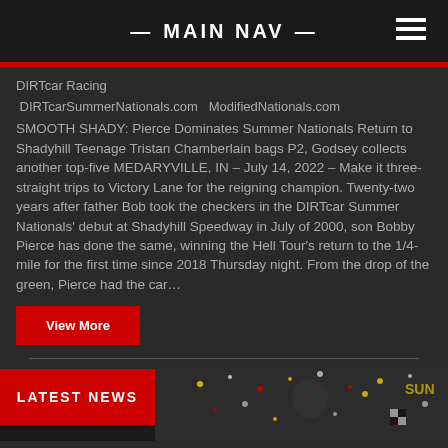— MAIN NAV —
DIRTcar Racing
 DIRTcarSummerNationals.com  ModifiedNationals.com
SMOOTH SHADY: Pierce Dominates Summer Nationals Return to Shadyhill Teenage Tristan Chamberlain bags P2, Godsey collects another top-five MEDARYVILLE, IN – July 14, 2022 – Make it three-straight trips to Victory Lane for the reigning champion. Twenty-two years after father Bob took the checkers in the DIRTcar Summer Nationals' debut at Shadyhill Speedway in July of 2000, son Bobby Pierce has done the same, winning the Hell Tour's return to the 1/4-mile for the first time since 2018 Thursday night. From the drop of the green, Pierce had the car…
View More
LATEST NEWS
[Figure (photo): Racing celebration photo with confetti and checkered flag in background]